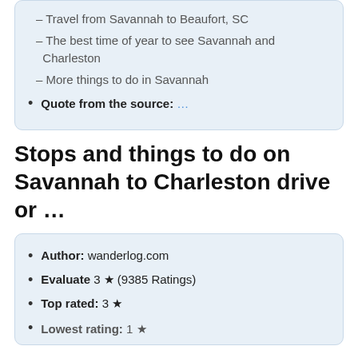– Travel from Savannah to Beaufort, SC
– The best time of year to see Savannah and Charleston
– More things to do in Savannah
Quote from the source: ...
Stops and things to do on Savannah to Charleston drive or ...
Author: wanderlog.com
Evaluate 3 ★ (9385 Ratings)
Top rated: 3 ★
Lowest rating: 1 ★